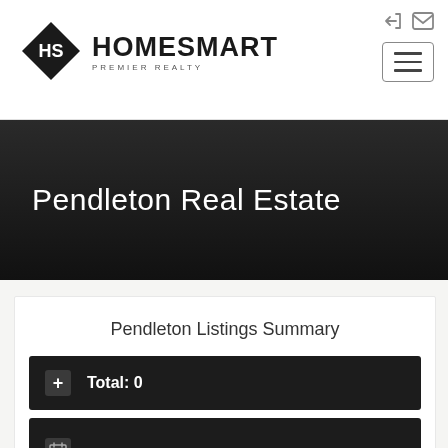[Figure (logo): HomeSmart Premier Realty logo with black diamond shape containing 'HS' monogram and 'HomeSmart' text beside it with 'Premier Realty' subtitle]
Pendleton Real Estate
Pendleton Listings Summary
Total: 0